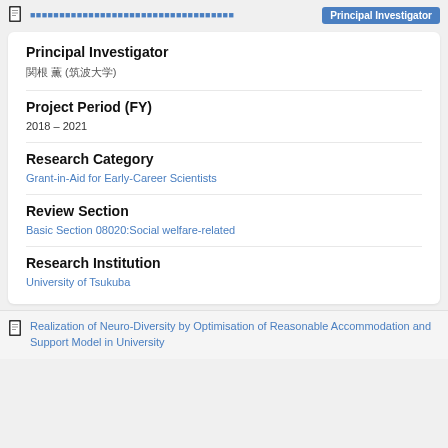Principal Investigator
Principal Investigator
関根 薫 (筑波大学)
Project Period (FY)
2018 – 2021
Research Category
Grant-in-Aid for Early-Career Scientists
Review Section
Basic Section 08020:Social welfare-related
Research Institution
University of Tsukuba
Realization of Neuro-Diversity by Optimisation of Reasonable Accommodation and Support Model in University